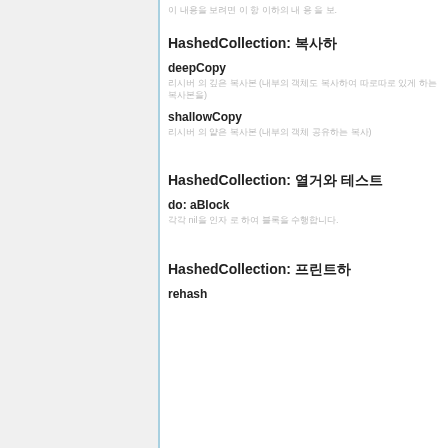이 내용을 보려면 이 항 이하의 내 용 을 보.
HashedCollection: 복사하
deepCopy
리시버 의 깊은 복사본 (내부의 객체도 복사하여 따로따로 있게 하는 복사본을)
shallowCopy
리시버 의 얕은 복사본 (내부의 객체 공유하는 복사)
HashedCollection: 열거와 테스트
do: aBlock
각각 nil을 인자 로 하여 블록을 수행합니다.
HashedCollection: 프린트하